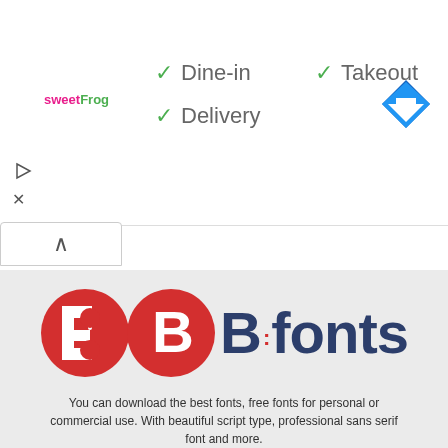[Figure (infographic): Ad banner showing sweetFrog logo with checkmarks for Dine-in, Takeout, Delivery options, a navigation direction icon top right, and play/X control icons on the left side]
[Figure (logo): BB fonts logo — red circle with white 'B' letter inside, followed by 'B:fonts' text in dark navy blue]
You can download the best fonts, free fonts for personal or commercial use. With beautiful script type, professional sans serif font and more.
[Figure (infographic): Two social media buttons: Behance (Be with underline) and Facebook (f) side by side]